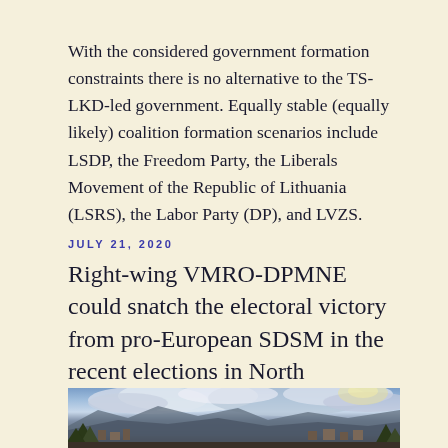With the considered government formation constraints there is no alternative to the TS-LKD-led government. Equally stable (equally likely) coalition formation scenarios include LSDP, the Freedom Party, the Liberals Movement of the Republic of Lithuania (LSRS), the Labor Party (DP), and LVZS.
JULY 21, 2020
Right-wing VMRO-DPMNE could snatch the electoral victory from pro-European SDSM in the recent elections in North Macedonia
[Figure (photo): Landscape photograph showing a dramatic cloudy sky over a town with mountains in the background, trees in the foreground]